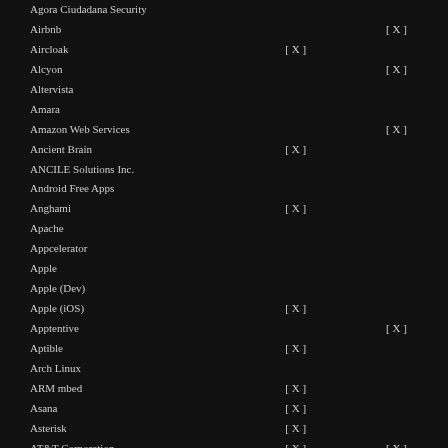| Organization |  |  |
| --- | --- | --- |
| Agora Ciudadana Security |  |  |
| Airbnb |  | [ X ] |
| Aircloak | [ X ] |  |
| Alcyon |  | [ X ] |
| Altervista |  |  |
| Amara |  |  |
| Amazon Web Services |  | [ X ] |
| Ancient Brain | [ X ] |  |
| ANCILE Solutions Inc. |  |  |
| Android Free Apps |  |  |
| Anghami | [ X ] |  |
| Apache |  |  |
| Appcelerator |  |  |
| Apple |  |  |
| Apple (Dev) |  |  |
| Apple (iOS) | [ X ] |  |
| Apptentive |  | [ X ] |
| Aptible | [ X ] |  |
| Arch Linux |  |  |
| ARM mbed | [ X ] |  |
| Asana | [ X ] |  |
| Asterisk | [ X ] |  |
| AT&T Corporation | [ X ] | [ X ] |
| Atlas | [ X ] |  |
| Attack Secure |  | [ X ] |
| Auth0 |  |  |
| ... |  |  |